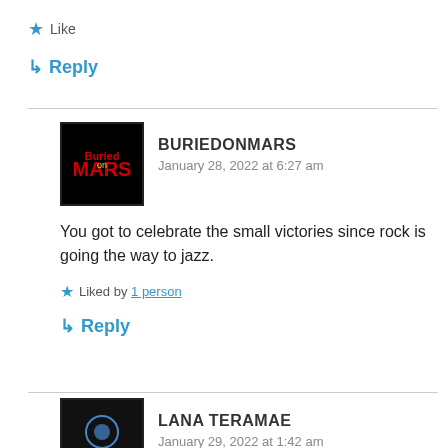★ Like
↳ Reply
BURIEDONMARS
January 28, 2022 at 6:27 am
You got to celebrate the small victories since rock is going the way to jazz.
★ Liked by 1 person
↳ Reply
LANA TERAMAE
January 29, 2022 at 1:42 am